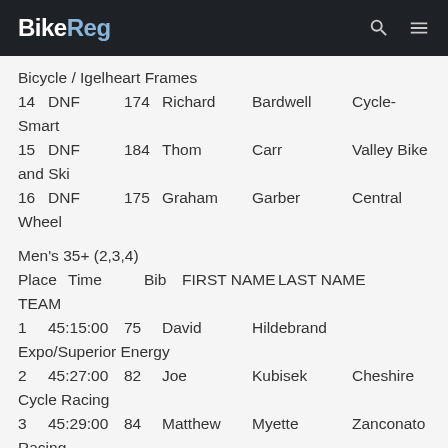BikeReg
Bicycle / Igelheart Frames
14   DNF   174   Richard   Bardwell   Cycle-Smart
15   DNF   184   Thom   Carr   Valley Bike and Ski
16   DNF   175   Graham   Garber   Central Wheel
Men's 35+ (2,3,4)
Place   Time   Bib   FIRST NAME   LAST NAME   TEAM
1   45:15:00   75   David   Hildebrand   Expo/Superior Energy
2   45:27:00   82   Joe   Kubisek   Cheshire Cycle Racing
3   45:29:00   84   Matthew   Myette   Zanconato Racing